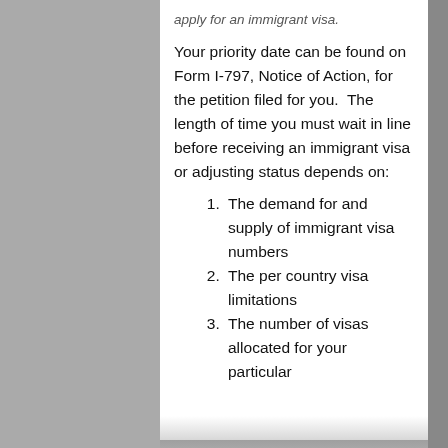apply for an immigrant visa.
Your priority date can be found on Form I-797, Notice of Action, for the petition filed for you.  The length of time you must wait in line before receiving an immigrant visa or adjusting status depends on:
The demand for and supply of immigrant visa numbers
The per country visa limitations
The number of visas allocated for your particular preference...